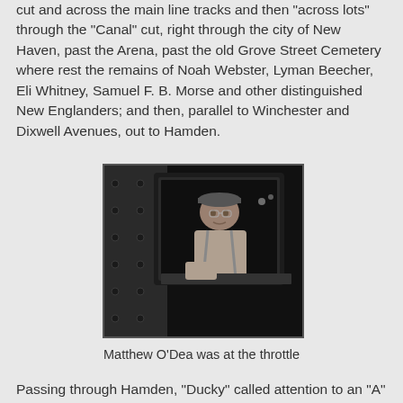cut and across the main line tracks and then "across lots" through the "Canal" cut, right through the city of New Haven, past the Arena, past the old Grove Street Cemetery where rest the remains of Noah Webster, Lyman Beecher, Eli Whitney, Samuel F. B. Morse and other distinguished New Englanders; and then, parallel to Winchester and Dixwell Avenues, out to Hamden.
[Figure (photo): Black and white photograph of Matthew O'Dea leaning out of a locomotive cab window, wearing a cap and light-colored clothing, looking at the camera.]
Matthew O'Dea was at the throttle
Passing through Hamden, "Ducky" called attention to an "A"